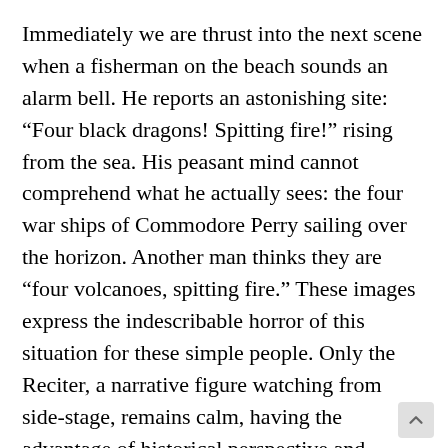Immediately we are thrust into the next scene when a fisherman on the beach sounds an alarm bell. He reports an astonishing site: “Four black dragons! Spitting fire!” rising from the sea. His peasant mind cannot comprehend what he actually sees: the four war ships of Commodore Perry sailing over the horizon. Another man thinks they are “four volcanoes, spitting fire.” These images express the indescribable horror of this situation for these simple people. Only the Reciter, a narrative figure watching from side-stage, remains calm, having the advantage of historical perspective and understanding what is happening.
A crowd gathers in amazement, their terrified minds interpreting the vision as an apocalyptic event: “And the earth trembled, and the sky cracked, and I thought it was the end of the world.” With great insight, th Reciter adds, “And it was.” He observes from a future